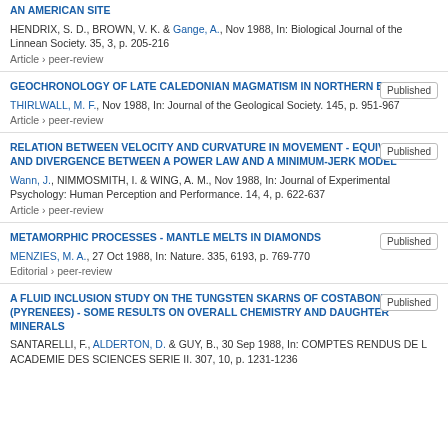AN AMERICAN SITE
HENDRIX, S. D., BROWN, V. K. & Gange, A., Nov 1988, In: Biological Journal of the Linnean Society. 35, 3, p. 205-216
Article › peer-review
GEOCHRONOLOGY OF LATE CALEDONIAN MAGMATISM IN NORTHERN BRITAIN
THIRLWALL, M. F., Nov 1988, In: Journal of the Geological Society. 145, p. 951-967
Article › peer-review
RELATION BETWEEN VELOCITY AND CURVATURE IN MOVEMENT - EQUIVALENCE AND DIVERGENCE BETWEEN A POWER LAW AND A MINIMUM-JERK MODEL
Wann, J., NIMMOSMITH, I. & WING, A. M., Nov 1988, In: Journal of Experimental Psychology: Human Perception and Performance. 14, 4, p. 622-637
Article › peer-review
METAMORPHIC PROCESSES - MANTLE MELTS IN DIAMONDS
MENZIES, M. A., 27 Oct 1988, In: Nature. 335, 6193, p. 769-770
Editorial › peer-review
A FLUID INCLUSION STUDY ON THE TUNGSTEN SKARNS OF COSTABONNE (PYRENEES) - SOME RESULTS ON OVERALL CHEMISTRY AND DAUGHTER MINERALS
SANTARELLI, F., ALDERTON, D. & GUY, B., 30 Sep 1988, In: COMPTES RENDUS DE L ACADEMIE DES SCIENCES SERIE II. 307, 10, p. 1231-1236